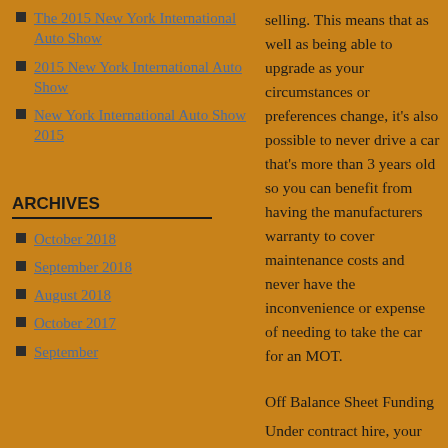The 2015 New York International Auto Show
2015 New York International Auto Show
New York International Auto Show 2015
selling. This means that as well as being able to upgrade as your circumstances or preferences change, it's also possible to never drive a car that's more than 3 years old so you can benefit from having the manufacturers warranty to cover maintenance costs and never have the inconvenience or expense of needing to take the car for an MOT.
ARCHIVES
October 2018
September 2018
August 2018
October 2017
September 2017
Off Balance Sheet Funding
Under contract hire, your vehicles do not appear on your company's balance sheet as they are owned by the contract hire company. The removal of capital assets from your balance sheet can enhance a company's gearing (borrowing)